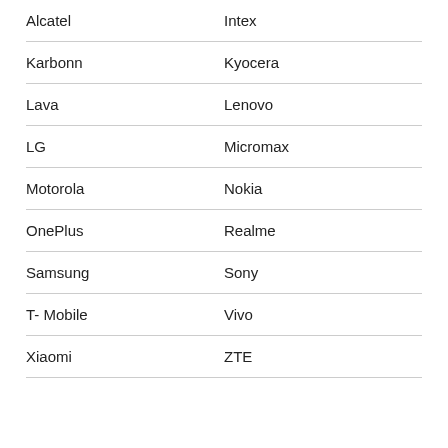Alcatel | Intex
Karbonn | Kyocera
Lava | Lenovo
LG | Micromax
Motorola | Nokia
OnePlus | Realme
Samsung | Sony
T- Mobile | Vivo
Xiaomi | ZTE